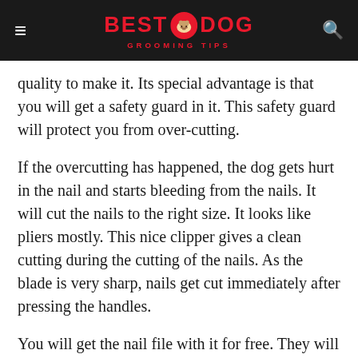BEST DOG GROOMING TIPS
quality to make it. Its special advantage is that you will get a safety guard in it. This safety guard will protect you from over-cutting.
If the overcutting has happened, the dog gets hurt in the nail and starts bleeding from the nails. It will cut the nails to the right size. It looks like pliers mostly. This nice clipper gives a clean cutting during the cutting of the nails. As the blade is very sharp, nails get cut immediately after pressing the handles.
You will get the nail file with it for free. They will also give you sharp blades. Both sides of the handles are